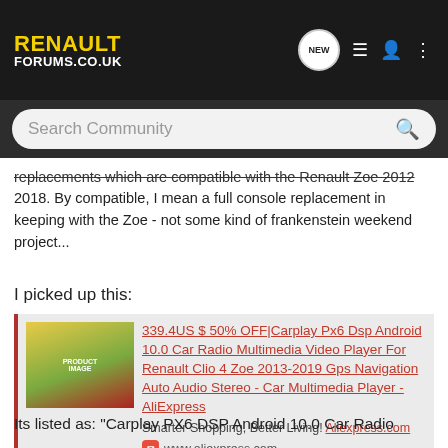Renault Forums.co.uk
replacements which are compatible with the Renault Zoe 2012-2018. By compatible, I mean a full console replacement in keeping with the Zoe - not some kind of frankenstein weekend project...
I picked up this:
[Figure (screenshot): AliExpress product listing card for Carplay Px6 Dsp Android 10.0 Car Radio Multimedia Video Player For Renault Clio 4 Zoe 2013-2019]
Its listed as: "Carplay PX6 DSP Android 10.0 Car Radio